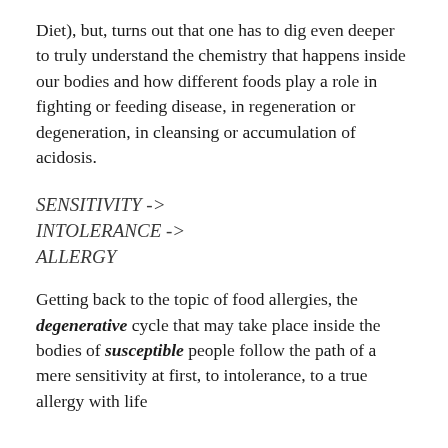Diet), but, turns out that one has to dig even deeper to truly understand the chemistry that happens inside our bodies and how different foods play a role in fighting or feeding disease, in regeneration or degeneration, in cleansing or accumulation of acidosis.
SENSITIVITY -> INTOLERANCE -> ALLERGY
Getting back to the topic of food allergies, the degenerative cycle that may take place inside the bodies of susceptible people follow the path of a mere sensitivity at first, to intolerance, to a true allergy with life